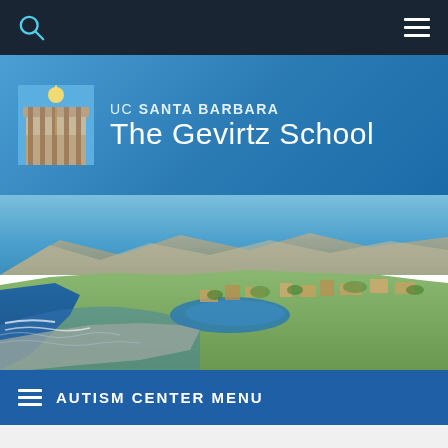Navigation bar with search and menu icons
UC SANTA BARBARA The Gevirtz School
[Figure (photo): Aerial photograph of UC Santa Barbara campus showing the coastline, lagoon, buildings, and surrounding landscape with ocean and mountains in background]
AUTISM CENTER MENU